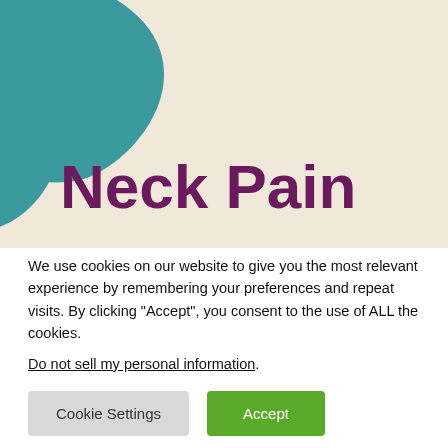[Figure (illustration): Decorative header banner with beige/cream background and teal organic blob shape in the top-left corner. Large bold purple text 'Neck Pain' overlaid on the banner.]
Neck Pain
We use cookies on our website to give you the most relevant experience by remembering your preferences and repeat visits. By clicking “Accept”, you consent to the use of ALL the cookies.
Do not sell my personal information.
Cookie Settings   Accept